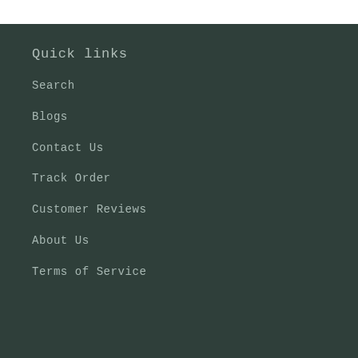Quick links
Search
Blogs
Contact Us
Track Order
Customer Reviews
About Us
Terms of Service